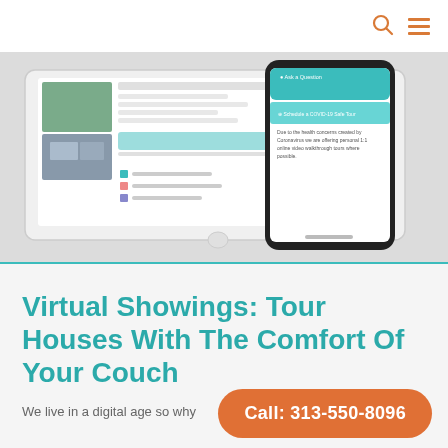navigation bar with search and menu icons
[Figure (screenshot): Screenshot of a real estate listing website shown on a tablet and a smartphone. The tablet shows a property listing with photos and details. The smartphone shows a COVID-19 Safe Tour scheduling interface with options to 'Ask a Question' and 'Schedule a COVID-19 Safe Tour', with text about offering personal 1:1 online video walkthrough tours.]
Virtual Showings: Tour Houses With The Comfort Of Your Couch
We live in a digital age so why
Call: 313-550-8096